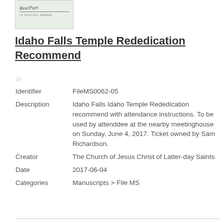[Figure (photo): Small thumbnail image showing a handwritten signature or document with cursive text, on a light green background with a horizontal line beneath the signature and small text below.]
Idaho Falls Temple Rededication Recommend
☆
| Identifier | FileMS0062-05 |
| Description | Idaho Falls Idaho Temple Rededication recommend with attendance instructions. To be used by attenddee at the nearby meetinghouse on Sunday, June 4, 2017. Ticket owned by Sam Richardson. |
| Creator | The Church of Jesus Christ of Latter-day Saints |
| Date | 2017-06-04 |
| Categories | Manuscripts > File MS |